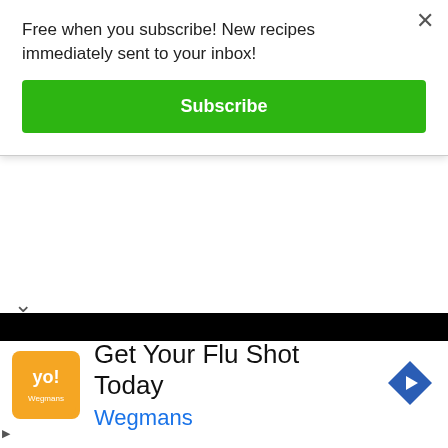Free when you subscribe! New recipes immediately sent to your inbox!
Subscribe
[Figure (screenshot): Black video/image bar across the page]
We filmed this in Chef AJ’s beautiful new home – her kitchen is perfect for filming cooking segments. She cooked for us all week long and we ate tons of starch. Potatoes, rice, sweet potatoes
[Figure (infographic): Advertisement banner: Get Your Flu Shot Today - Wegmans, with orange logo and blue navigation arrow icon]